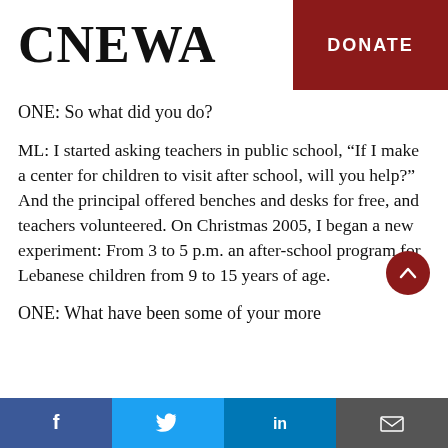CNEWA | DONATE
ONE: So what did you do?
ML: I started asking teachers in public school, “If I make a center for children to visit after school, will you help?” And the principal offered benches and desks for free, and teachers volunteered. On Christmas 2005, I began a new experiment: From 3 to 5 p.m. an after-school program for Lebanese children from 9 to 15 years of age.
ONE: What have been some of your more